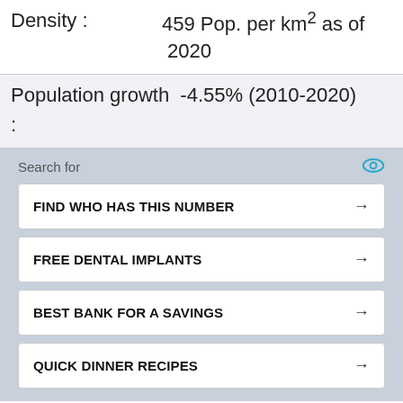Density : 459 Pop. per km² as of 2020
Population growth : -4.55% (2010-2020)
Search for
FIND WHO HAS THIS NUMBER →
FREE DENTAL IMPLANTS →
BEST BANK FOR A SAVINGS →
QUICK DINNER RECIPES →